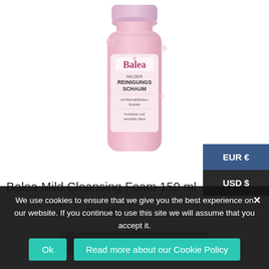[Figure (photo): Balea Mild Cleansing Foam 150ml product bottle, pink/light purple color with label showing 'Balea MILDER REINIGUNGSSCHAUM mit Mandelblüten-Extrakt, trockene und sensible Haut']
Balea Mild Cleansing Foam 150 ml
€ 7.19
EUR €
USD $
We use cookies to ensure that we give you the best experience on our website. If you continue to use this site we will assume that you accept it.
Ok
Read more about our Cookie Policy